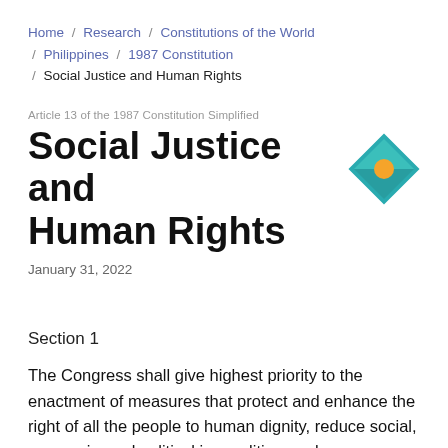Home / Research / Constitutions of the World / Philippines / 1987 Constitution / Social Justice and Human Rights
Article 13 of the 1987 Constitution Simplified
Social Justice and Human Rights
January 31, 2022
Section 1
The Congress shall give highest priority to the enactment of measures that protect and enhance the right of all the people to human dignity, reduce social, economic, and political inequalities, and remove